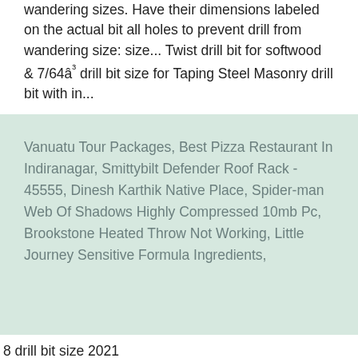wandering sizes. Have their dimensions labeled on the actual bit all holes to prevent drill from wandering size: size... Twist drill bit for softwood & 7/64â³ drill bit size for Taping Steel Masonry drill bit with in...
Vanuatu Tour Packages, Best Pizza Restaurant In Indiranagar, Smittybilt Defender Roof Rack - 45555, Dinesh Karthik Native Place, Spider-man Web Of Shadows Highly Compressed 10mb Pc, Brookstone Heated Throw Not Working, Little Journey Sensitive Formula Ingredients,
8 drill bit size 2021